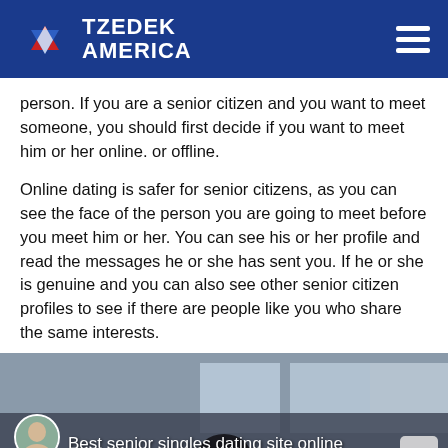Tzedek America
person. If you are a senior citizen and you want to meet someone, you should first decide if you want to meet him or her online. or offline.
Online dating is safer for senior citizens, as you can see the face of the person you are going to meet before you meet him or her. You can see his or her profile and read the messages he or she has sent you. If he or she is genuine and you can also see other senior citizen profiles to see if there are people like you who share the same interests.
[Figure (screenshot): Video thumbnail showing a person seated at a desk with text overlay reading 'Best senior singles dating site online' and a small circular avatar portrait in the lower left.]